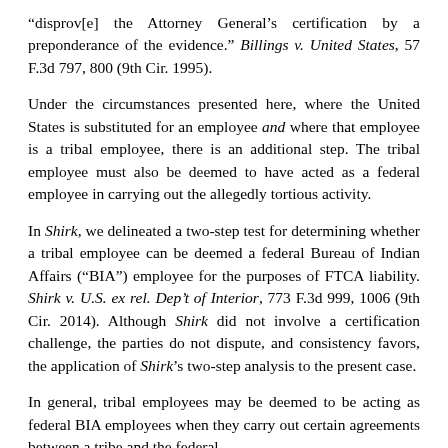"disprov[e] the Attorney General's certification by a preponderance of the evidence." Billings v. United States, 57 F.3d 797, 800 (9th Cir. 1995).
Under the circumstances presented here, where the United States is substituted for an employee and where that employee is a tribal employee, there is an additional step. The tribal employee must also be deemed to have acted as a federal employee in carrying out the allegedly tortious activity.
In Shirk, we delineated a two-step test for determining whether a tribal employee can be deemed a federal Bureau of Indian Affairs (“BIA”) employee for the purposes of FTCA liability. Shirk v. U.S. ex rel. Dep’t of Interior, 773 F.3d 999, 1006 (9th Cir. 2014). Although Shirk did not involve a certification challenge, the parties do not dispute, and consistency favors, the application of Shirk’s two-step analysis to the present case.
In general, tribal employees may be deemed to be acting as federal BIA employees when they carry out certain agreements between a tribe and the federal